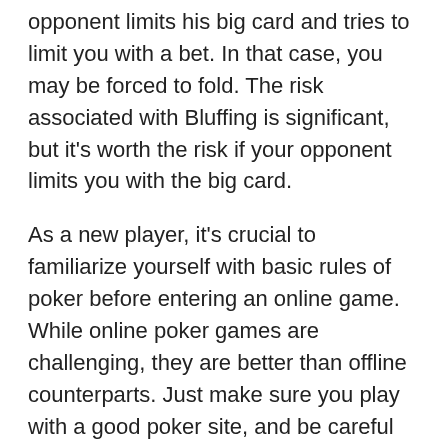opponent limits his big card and tries to limit you with a bet. In that case, you may be forced to fold. The risk associated with Bluffing is significant, but it's worth the risk if your opponent limits you with the big card.
As a new player, it's crucial to familiarize yourself with basic rules of poker before entering an online game. While online poker games are challenging, they are better than offline counterparts. Just make sure you play with a good poker site, and be careful not to get swept away by the competition. If you don't feel comfortable with online poker, it's a good idea to seek advice from someone more experienced. You'll find useful tips online.
Another popular online poker game is super10 poker. This game is similar to texas holdem, but it uses media kartu instead of poker cards. The players can also bet on teams of 10 in Super10 poker, and play